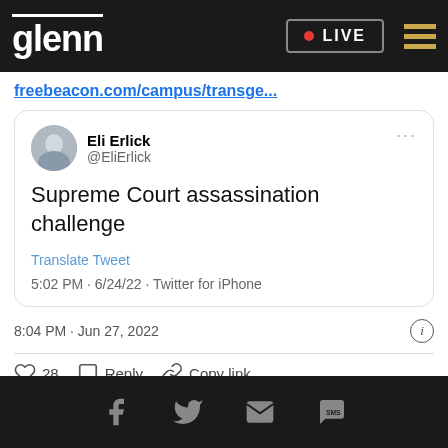glenn · LIVE
freebeacon.com/campus/transge...
[Figure (screenshot): Embedded tweet from Eli Erlick (@EliErlick) reading 'Supreme Court assassination challenge', with Translate Tweet link, timestamp 5:02 PM · 6/24/22 · Twitter for iPhone]
8:04 PM · Jun 27, 2022
28  Reply  Copy link
Read 20 replies
Facebook · Twitter · Email · SMS